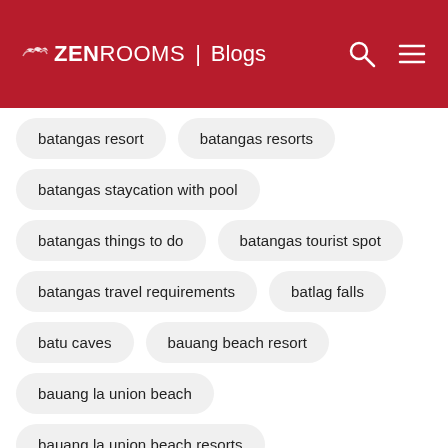ZEN ROOMS | Blogs
batangas resort
batangas resorts
batangas staycation with pool
batangas things to do
batangas tourist spot
batangas travel requirements
batlag falls
batu caves
bauang beach resort
bauang la union beach
bauang la union beach resorts
bauang la union resorts
bayanihan filipino culture
beach